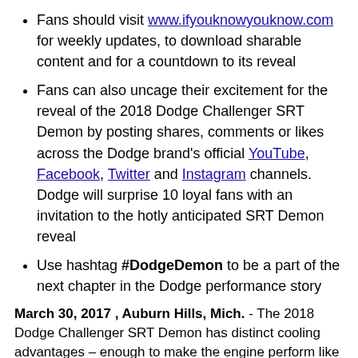Fans should visit www.ifyouknowyouknow.com for weekly updates, to download sharable content and for a countdown to its reveal
Fans can also uncage their excitement for the reveal of the 2018 Dodge Challenger SRT Demon by posting shares, comments or likes across the Dodge brand's official YouTube, Facebook, Twitter and Instagram channels. Dodge will surprise 10 loyal fans with an invitation to the hotly anticipated SRT Demon reveal
Use hashtag #DodgeDemon to be a part of the next chapter in the Dodge performance story
March 30, 2017 , Auburn Hills, Mich. - The 2018 Dodge Challenger SRT Demon has distinct cooling advantages – enough to make the engine perform like it is running in the cold Alaskan air, even after a day of runs down the strip on a hot summer day.
The newest teaser video, “No Ice,” unlocked March 30 at